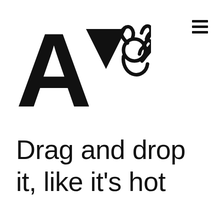[Figure (logo): AVo logo: large letter A, downward-pointing triangle (V), and an OK hand gesture icon, all in black]
[Figure (other): Hamburger menu icon (three horizontal lines) in top right corner]
Drag and drop it, like it's hot